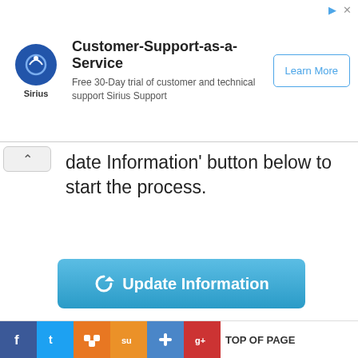[Figure (screenshot): Sirius Support advertisement banner: Customer-Support-as-a-Service. Free 30-Day trial of customer and technical support Sirius Support. Learn More button.]
date Information' button below to start the process.
[Figure (screenshot): Blue 'Update Information' button with refresh icon]
All Companies \ All Directors \ All Trademarks \ Septaz \ Import Export Data
About Us \ FAQ \ Privacy Policy \ Terms of Use \ Refunds & Cancellation \ Contact US
© 2013 Zauba Technologies & Data Services Private Limited. All rights reserved.
[Figure (screenshot): Social media icons: Facebook, Twitter, LinkedIn in footer area. DigiCert EV SSL badge.]
[Figure (screenshot): Bottom bar with social share icons: Facebook, Twitter, MySpace, StumbleUpon, Delicious, Google+, and TOP OF PAGE text]